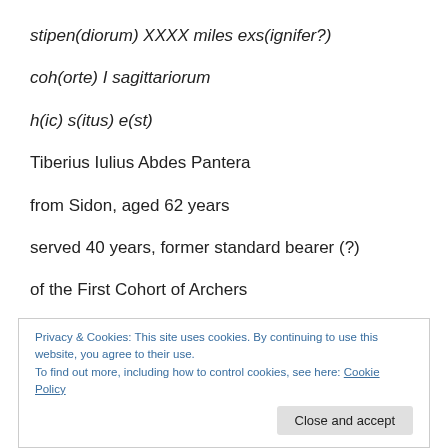stipen(diorum) XXXX miles exs(ignifer?)
coh(orte) I sagittariorum
h(ic) s(itus) e(st)
Tiberius Iulius Abdes Pantera
from Sidon, aged 62 years
served 40 years, former standard bearer (?)
of the First Cohort of Archers
Privacy & Cookies: This site uses cookies. By continuing to use this website, you agree to their use.
To find out more, including how to control cookies, see here: Cookie Policy